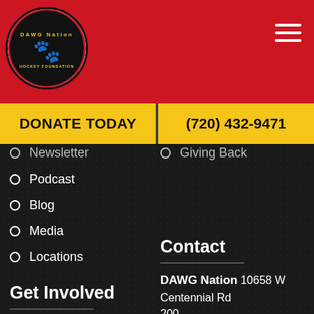DAWG Nation Hockey Foundation - header with logo and hamburger menu
DONATE TODAY | (720) 432-9471
Newsletter
Giving Back
Podcast
Blog
Media
Locations
Get Involved
Contact
Events
FAQ
DAWG Nation
10658 W Centennial Rd
200